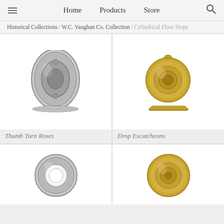Home  Products  Store
Historical Collections / W.C. Vaughan Co. Collection / Cylindrical Floor Stops
[Figure (photo): Silver oval thumb turn rose hardware piece shown from front and side profile]
Thumb Turn Roses
[Figure (photo): Gold/brass drop escutcheon hardware piece shown from front with decorative beaded edge and small ring at top, plus side profile]
Drop Escutcheons
[Figure (photo): Silver/chrome round rose hardware piece shown from front]
[Figure (photo): Gold/brass round decorative escutcheon hardware piece shown from front with beaded edge]